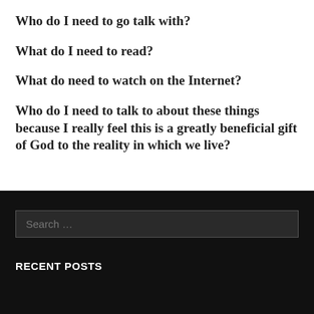Who do I need to go talk with?
What do I need to read?
What do need to watch on the Internet?
Who do I need to talk to about these things because I really feel this is a greatly beneficial gift of God to the reality in which we live?
Search …
RECENT POSTS